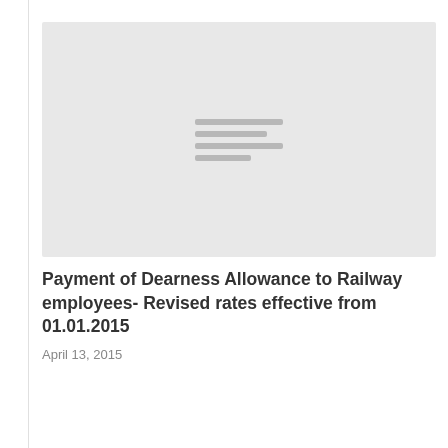[Figure (other): Placeholder image with grey background and horizontal lines pattern in the center]
Payment of Dearness Allowance to Railway employees- Revised rates effective from 01.01.2015
April 13, 2015